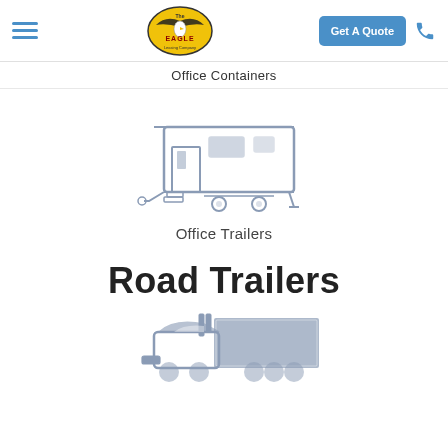The Eagle Leasing Company — navigation header with hamburger menu, logo, Get A Quote button, phone icon
Office Containers
[Figure (illustration): Grey line-art illustration of an office trailer/portable building on wheels]
Office Trailers
Road Trailers
[Figure (illustration): Grey illustration of a semi-truck/tractor-trailer]